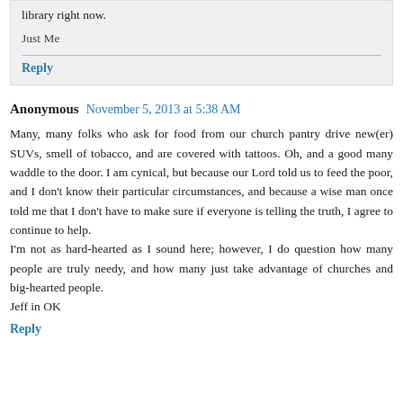library right now.
Just Me
Reply
Anonymous  November 5, 2013 at 5:38 AM
Many, many folks who ask for food from our church pantry drive new(er) SUVs, smell of tobacco, and are covered with tattoos. Oh, and a good many waddle to the door. I am cynical, but because our Lord told us to feed the poor, and I don't know their particular circumstances, and because a wise man once told me that I don't have to make sure if everyone is telling the truth, I agree to continue to help.
I'm not as hard-hearted as I sound here; however, I do question how many people are truly needy, and how many just take advantage of churches and big-hearted people.
Jeff in OK
Reply